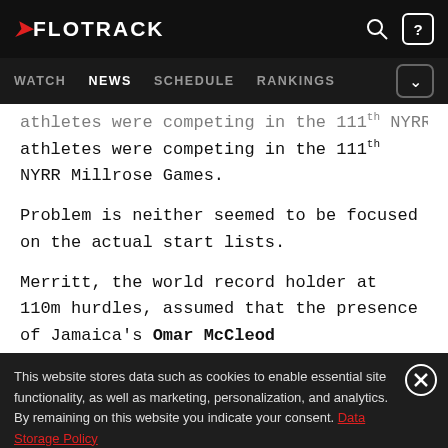FLOTRACK — WATCH | NEWS | SCHEDULE | RANKINGS
athletes were competing in the 111th NYRR Millrose Games.
Problem is neither seemed to be focused on the actual start lists.
Merritt, the world record holder at 110m hurdles, assumed that the presence of Jamaica's Omar McCleod
This website stores data such as cookies to enable essential site functionality, as well as marketing, personalization, and analytics. By remaining on this website you indicate your consent. Data Storage Policy